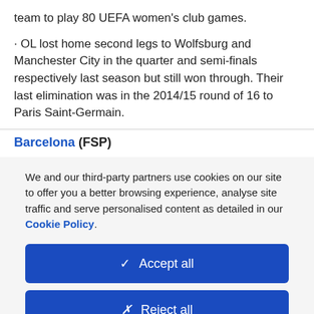team to play 80 UEFA women's club games.
· OL lost home second legs to Wolfsburg and Manchester City in the quarter and semi-finals respectively last season but still won through. Their last elimination was in the 2014/15 round of 16 to Paris Saint-Germain.
Barcelona (FSP)
We and our third-party partners use cookies on our site to offer you a better browsing experience, analyse site traffic and serve personalised content as detailed in our Cookie Policy.
✓  Accept all
✗  Reject all
Cookie settings >